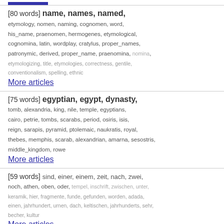[80 words] name, names, named, etymology, nomen, naming, cognomen, word, his_name, praenomen, hermogenes, etymological, cognomina, latin, wordplay, cratylus, proper_names, patronymic, derived, proper_name, praenomina, nomina, etymologizing, title, etymologies, correctness, gentile, conventionalism, spelling, ethnic
More articles
[75 words] egyptian, egypt, dynasty, tomb, alexandria, king, nile, temple, egyptians, cairo, petrie, tombs, scarabs, period, osiris, isis, reign, sarapis, pyramid, ptolemaic, naukratis, royal, thebes, memphis, scarab, alexandrian, amarna, sesostris, middle_kingdom, rowe
More articles
[59 words] sind, einer, einem, zeit, nach, zwei, noch, athen, oben, oder, tempel, inschrift, zwischen, unter, keramik, hier, fragmente, funde, gefunden, worden, adada, einen, jahrhundert, urnen, dach, keltischen, jahrhunderts, sehr, becher, kultur
More articles